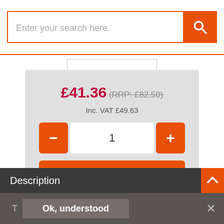[Figure (screenshot): Search bar with orange search button and magnifying glass icon]
£41.36 (RRP: £82.50)
Inc. VAT £49.63
[Figure (screenshot): Quantity selector with minus button, 1, and plus button]
Add to Basket
Alternative Products
Description
Ok, understood